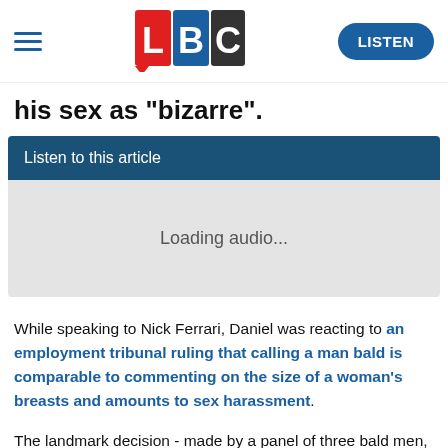LBC — LISTEN
his sex as "bizarre".
Listen to this article
Loading audio...
While speaking to Nick Ferrari, Daniel was reacting to an employment tribunal ruling that calling a man bald is comparable to commenting on the size of a woman's breasts and amounts to sex harassment.
The landmark decision - made by a panel of three bald men, according to The Telegraph - concerns a claim brought by Tony Finn, 64, against the British Bung Company, where he